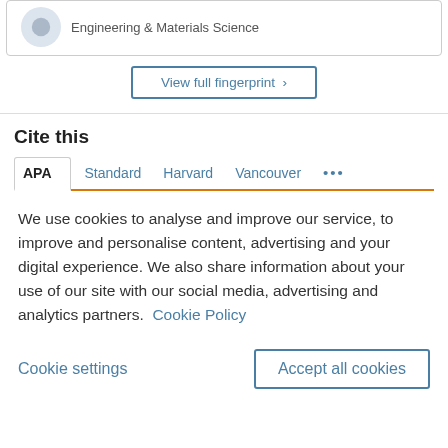Engineering & Materials Science
View full fingerprint >
Cite this
APA   Standard   Harvard   Vancouver   ...
We use cookies to analyse and improve our service, to improve and personalise content, advertising and your digital experience. We also share information about your use of our site with our social media, advertising and analytics partners.  Cookie Policy
Cookie settings
Accept all cookies